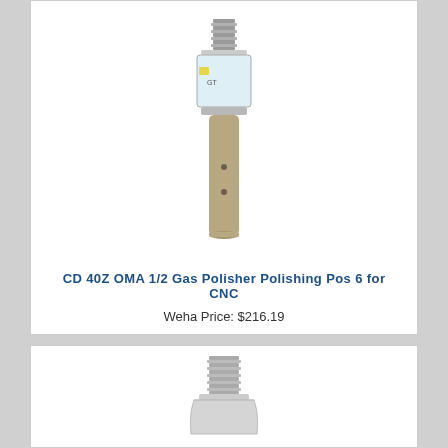[Figure (photo): Photo of CD 40Z OMA 1/2 Gas Polisher - a cylindrical polishing tool with threaded metal top fitting and tan abrasive cylindrical body with two small holes]
CD 40Z OMA 1/2 Gas Polisher Polishing Pos 6 for CNC
Weha Price: $216.19
[Figure (photo): Partial photo of another polishing tool showing the top threaded metal portion]